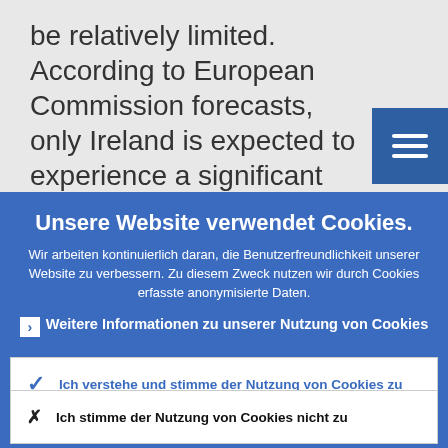be relatively limited. According to European Commission forecasts, only Ireland is expected to experience a significant
[Figure (other): Hamburger menu icon button (three horizontal white lines on blue square background)]
Unsere Website verwendet Cookies.
Wir arbeiten kontinuierlich daran, die Benutzerfreundlichkeit unserer Website zu verbessern. Zu diesem Zweck nutzen wir durch Cookies erfasste anonymisierte Daten.
Weitere Informationen zu unserer Nutzung von Cookies
Ich verstehe und stimme der Nutzung von Cookies zu
Ich stimme der Nutzung von Cookies nicht zu